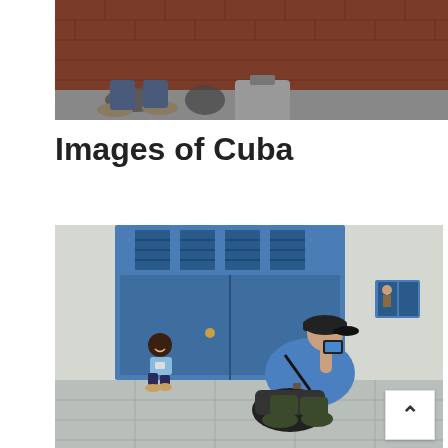[Figure (photo): Partial view of a person's lower body sitting on a red brick step with sandals visible and a grey bag nearby]
Images of Cuba
[Figure (photo): A photographer kneeling on a tiled street photographing a smiling child sitting in front of a blue door on a white wall in Cuba. A small blue window is visible on the right wall. The photographer wears a blue shirt and carries a black bag.]